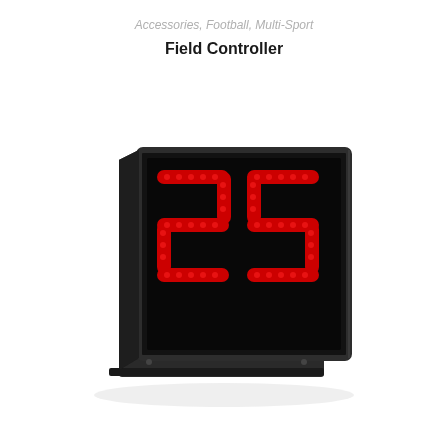Accessories, Football, Multi-Sport
Field Controller
[Figure (photo): A sports field controller device — a black rectangular LED display unit showing the number '25' in red LED segmented digits, mounted on a low-profile black stand/base, shown in a perspective/angled view against a white background.]